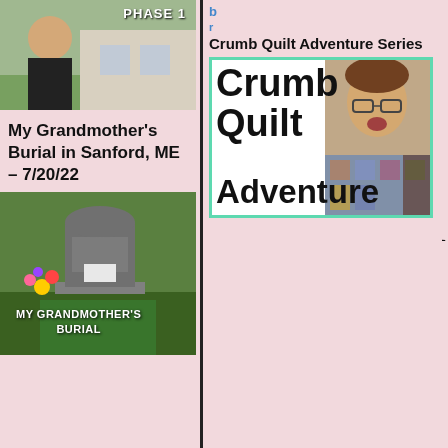[Figure (photo): Photo of a man outdoors with PHASE 1 label in upper right corner]
My Grandmother's Burial in Sanford, ME – 7/20/22
[Figure (photo): Photo of a gravestone with flowers and text MY GRANDMOTHER'S BURIAL overlaid]
Crumb Quilt Adventure Series
[Figure (photo): Crumb Quilt Adventure logo with large bold text and photo collage with teal border]
'2014 at 10:00am